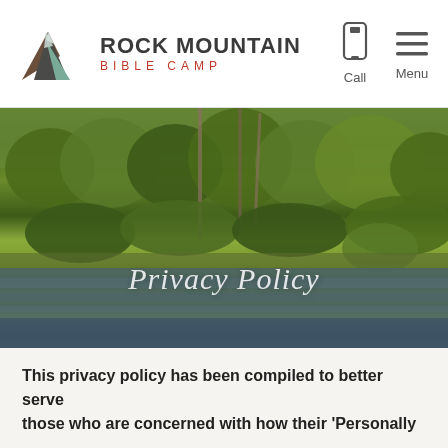[Figure (logo): Rock Mountain Bible Camp logo with mountain triangle graphic and text]
[Figure (photo): Scenic photo of a forested mountainside with a lake or river in the foreground, overlaid with the text 'Privacy Policy' in white italic serif font]
Privacy Policy
This privacy policy has been compiled to better serve those who are concerned with how their 'Personally identifiable information' (PII) is being used online.